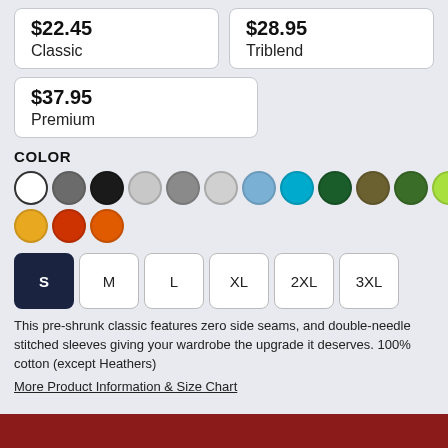$22.45
Classic
$28.95
Triblend
$37.95
Premium
COLOR
[Figure (illustration): Color swatches: white (selected), dark gray, black, light gray, medium gray, silver/light gray, light blue, cyan/teal, dark green, olive, green, lime green, yellow, gold/yellow-orange, red-orange, orange]
[Figure (illustration): Size selector buttons: S (selected, dark navy), M, L, XL, 2XL, 3XL]
This pre-shrunk classic features zero side seams, and double-needle stitched sleeves giving your wardrobe the upgrade it deserves. 100% cotton (except Heathers)
More Product Information & Size Chart